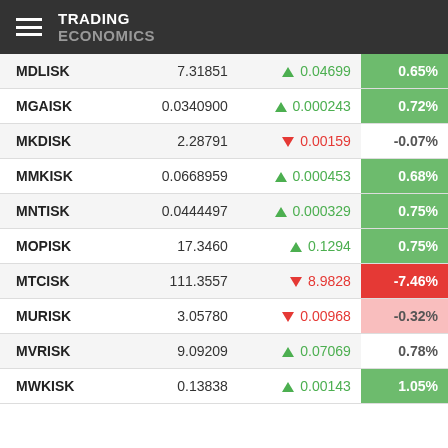TRADING ECONOMICS
| Symbol | Value | Change | % |
| --- | --- | --- | --- |
| MDLISK | 7.31851 | ▲ 0.04699 | 0.65% |
| MGAISK | 0.0340900 | ▲ 0.000243 | 0.72% |
| MKDISK | 2.28791 | ▼ 0.00159 | -0.07% |
| MMKISK | 0.0668959 | ▲ 0.000453 | 0.68% |
| MNTISK | 0.0444497 | ▲ 0.000329 | 0.75% |
| MOPISK | 17.3460 | ▲ 0.1294 | 0.75% |
| MTCISK | 111.3557 | ▼ 8.9828 | -7.46% |
| MURISK | 3.05780 | ▼ 0.00968 | -0.32% |
| MVRISK | 9.09209 | ▲ 0.07069 | 0.78% |
| MWKISK | 0.13838 | ▲ 0.00143 | 1.05% |